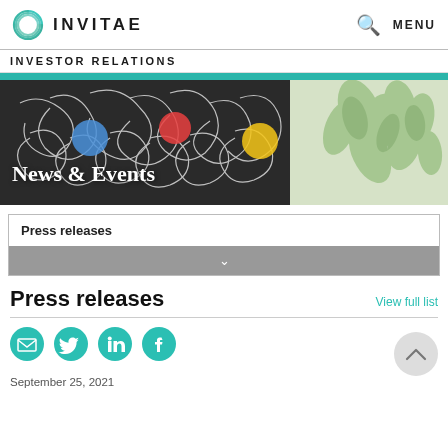INVITAE   MENU
INVESTOR RELATIONS
[Figure (photo): Banner photo of people laughing in front of colorful mural art, with text overlay 'News & Events' and a teal strip at top]
Press releases
Press releases
View full list
[Figure (infographic): Row of teal social media icons: email, twitter, linkedin, facebook]
September 25, 2021